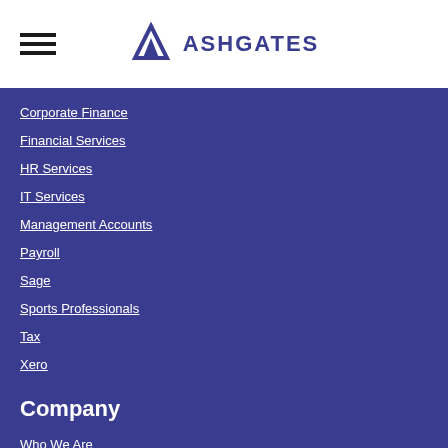[Figure (logo): Ashgates logo with triangular icon and text ASHGATES]
Corporate Finance
Financial Services
HR Services
IT Services
Management Accounts
Payroll
Sage
Sports Professionals
Tax
Xero
Company
Who We Are
Client Reviews
Charity Work